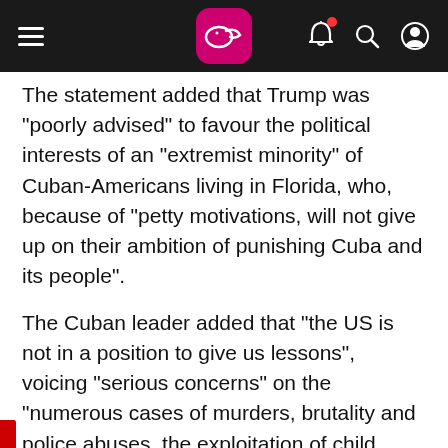Navigation bar with hamburger menu, logo, bell notification, search, and user icons
The statement added that Trump was "poorly advised" to favour the political interests of an "extremist minority" of Cuban-Americans living in Florida, who, because of "petty motivations, will not give up on their ambition of punishing Cuba and its people".
The Cuban leader added that "the US is not in a position to give us lessons", voicing "serious concerns" on the "numerous cases of murders, brutality and police abuses, the exploitation of child labour, racial discrimination and restrictions on healthcare services."
TAGS: